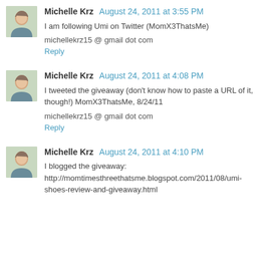Michelle Krz August 24, 2011 at 3:55 PM
I am following Umi on Twitter (MomX3ThatsMe)
michellekrz15 @ gmail dot com
Reply
Michelle Krz August 24, 2011 at 4:08 PM
I tweeted the giveaway (don't know how to paste a URL of it, though!) MomX3ThatsMe, 8/24/11
michellekrz15 @ gmail dot com
Reply
Michelle Krz August 24, 2011 at 4:10 PM
I blogged the giveaway: http://momtimesthreethatsme.blogspot.com/2011/08/umi-shoes-review-and-giveaway.html